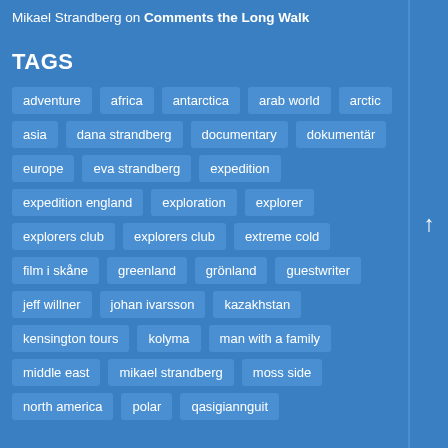Mikael Strandberg on Comments the Long Walk
TAGS
adventure
africa
antarctica
arab world
arctic
asia
dana strandberg
documentary
dokumentär
europe
eva strandberg
expedition
expedition england
exploration
explorer
explorers club
explorers club
extreme cold
film i skåne
greenland
grönland
guestwriter
jeff willner
johan ivarsson
kazakhstan
kensington tours
kolyma
man with a family
middle east
mikael strandberg
moss side
north america
polar
qasigiannguit